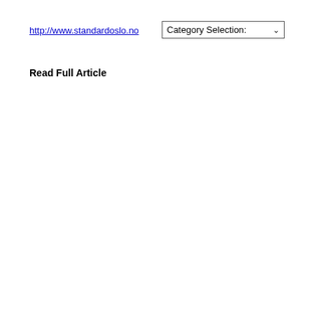http://www.standardoslo.no
Read Full Article